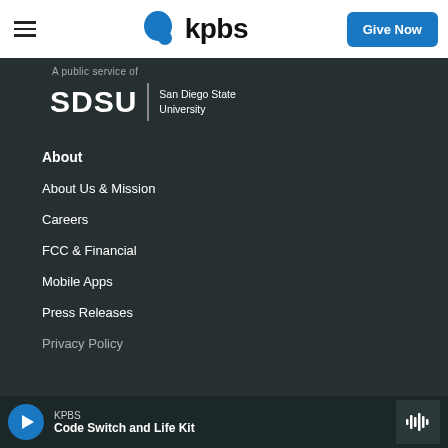[Figure (logo): KPBS logo with blue speech bubble and bold 'kpbs' text]
[Figure (logo): SDSU | San Diego State University logo in white on dark background]
A public service of
About
About Us & Mission
Careers
FCC & Financial
Mobile Apps
Press Releases
Privacy Policy
KPBS — Code Switch and Life Kit